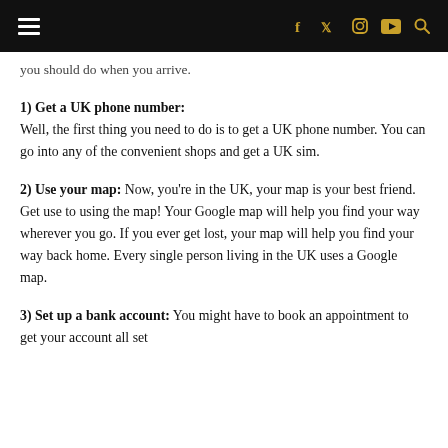Navigation header with hamburger menu and social icons (Facebook, Twitter, Instagram, YouTube, Search)
you should do when you arrive.
1) Get a UK phone number: Well, the first thing you need to do is to get a UK phone number. You can go into any of the convenient shops and get a UK sim.
2) Use your map: Now, you're in the UK, your map is your best friend. Get use to using the map! Your Google map will help you find your way wherever you go. If you ever get lost, your map will help you find your way back home. Every single person living in the UK uses a Google map.
3) Set up a bank account: You might have to book an appointment to get your account all set